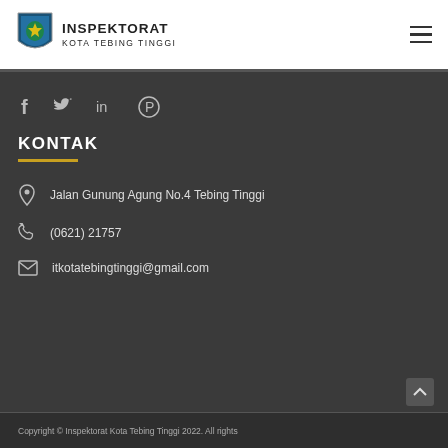INSPEKTORAT KOTA TEBING TINGGI
[Figure (logo): Inspektorat Kota Tebing Tinggi shield logo with blue and green emblem]
KONTAK
Jalan Gunung Agung No.4 Tebing Tinggi
(0621) 21757
itkotatebingtinggi@gmail.com
Copyright © Inspektorat Kota Tebing Tinggi 2022. All rights